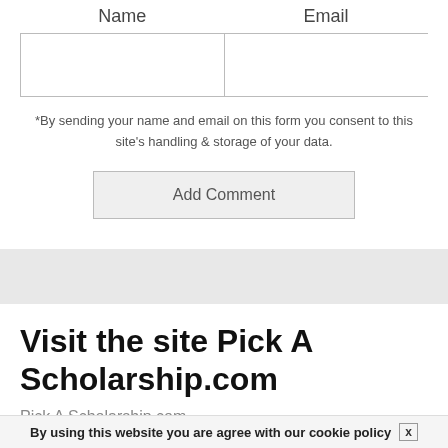| Name | Email |
| --- | --- |
|  |  |
*By sending your name and email on this form you consent to this site's handling & storage of your data.
Add Comment
Visit the site Pick A Scholarship.com
Pick A Scholarship.com
By using this website you are agree with our cookie policy